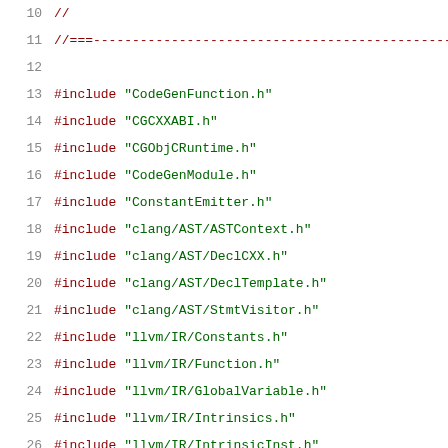10  //
11  //===---...
12  
13  #include "CodeGenFunction.h"
14  #include "CGCXXABI.h"
15  #include "CGObjCRuntime.h"
16  #include "CodeGenModule.h"
17  #include "ConstantEmitter.h"
18  #include "clang/AST/ASTContext.h"
19  #include "clang/AST/DeclCXX.h"
20  #include "clang/AST/DeclTemplate.h"
21  #include "clang/AST/StmtVisitor.h"
22  #include "llvm/IR/Constants.h"
23  #include "llvm/IR/Function.h"
24  #include "llvm/IR/GlobalVariable.h"
25  #include "llvm/IR/Intrinsics.h"
26  #include "llvm/IR/IntrinsicInst.h"
27  using namespace clang;
28  using namespace CodeGen;
29  
30  //===---...
31  //                        Aggregate Expression